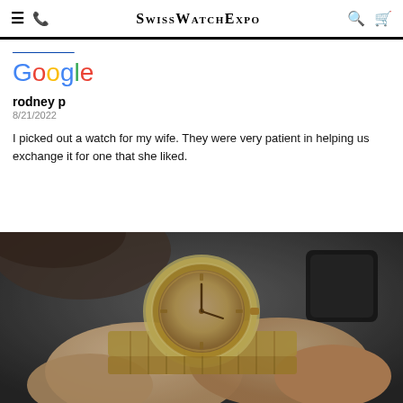SwissWatchExpo
rodney p
8/21/2022
I picked out a watch for my wife. They were very patient in helping us exchange it for one that she liked.
[Figure (photo): Close-up of a person's hands examining or adjusting a luxury gold Rolex wristwatch with a diamond bezel and jubilee bracelet, on a dark background.]